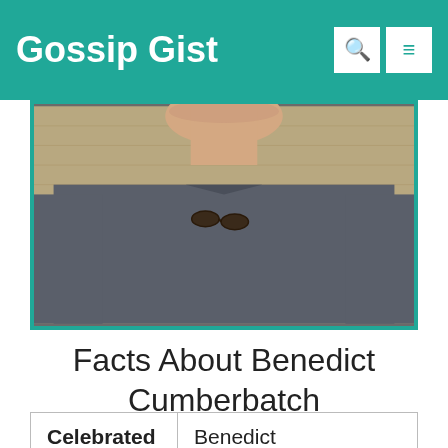Gossip Gist
[Figure (photo): Cropped photo of a man wearing a dark grey v-neck t-shirt with sunglasses hanging from the collar, photographed from chest up against a beige/burlap background. Face not visible — image cropped at neck/jawline.]
Facts About Benedict Cumberbatch
| Celebrated Name | Benedict Cumberbatch |
| Age | 46 Years Old |